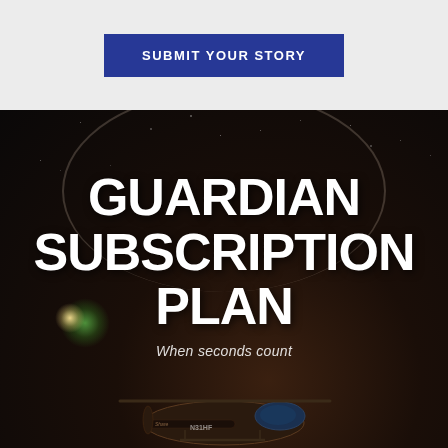[Figure (screenshot): Button with dark blue background and white text reading SUBMIT YOUR STORY on a light gray background]
[Figure (photo): Night sky photo showing a medical helicopter on a helipad with stars visible, dark atmospheric background with a green lens flare, helicopter with N31HF registration visible at bottom]
GUARDIAN SUBSCRIPTION PLAN
When seconds count